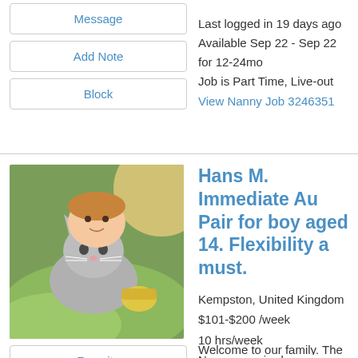Message
Last logged in 19 days ago
Available Sep 22 - Sep 22 for 12-24mo
Job is Part Time, Live-out
Add Note
Block
View Nanny Job 3246351
[Figure (photo): Person lying with a cat, close-up photo]
Hans M. Immediate Au Pair for boy aged 14. Flexibility a must.
Kempston, United Kingdom
$101-$200 /week
10 hrs/week
No exp required
Favorite
Message
Add Note
Welcome to our family. The three of us, myself, my 14 year old son and the cat, live in a villa just outside Bedford. Our estate is to the west, along the river Great Ouse. Bedford is an old town with